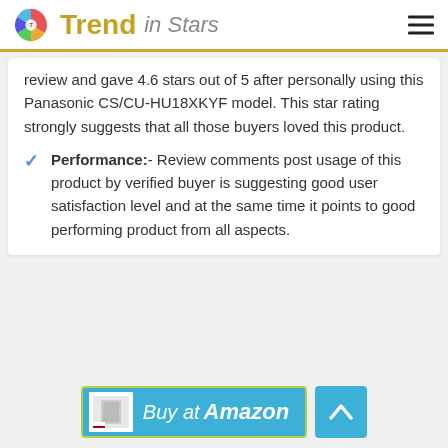Trend in Stars
review and gave 4.6 stars out of 5 after personally using this Panasonic CS/CU-HU18XKYF model. This star rating strongly suggests that all those buyers loved this product.
Performance:- Review comments post usage of this product by verified buyer is suggesting good user satisfaction level and at the same time it points to good performing product from all aspects.
[Figure (other): Buy at Amazon button with product image thumbnail and blue background, bordered with yellow-green outline]